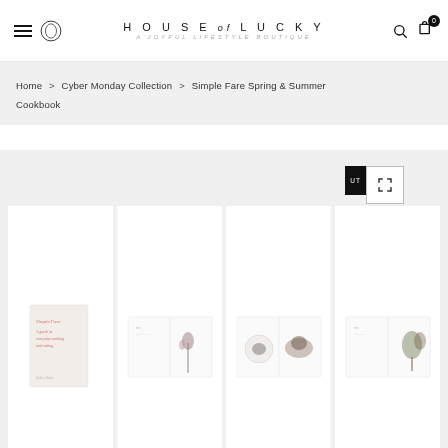HOUSE of LUCKY — A joyful lifestyle boutique
Home > Cyber Monday Collection > Simple Fare Spring & Summer Cookbook
[Figure (screenshot): Product gallery showing four thumbnail images of the Simple Fare Spring & Summer Cookbook — the book cover and three interior spreads — on a light gray background, with a SOLD OUT badge and expand icon overlay.]